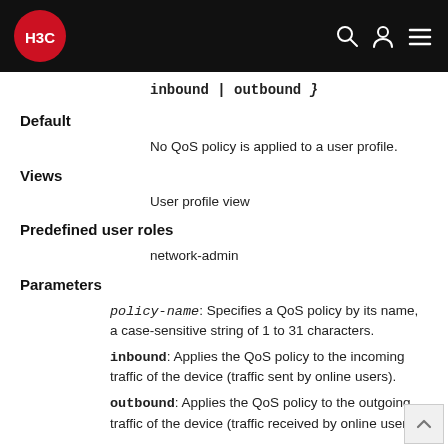H3C [logo header bar with search, user, menu icons]
inbound | outbound }
Default
No QoS policy is applied to a user profile.
Views
User profile view
Predefined user roles
network-admin
Parameters
policy-name: Specifies a QoS policy by its name, a case-sensitive string of 1 to 31 characters.
inbound: Applies the QoS policy to the incoming traffic of the device (traffic sent by online users).
outbound: Applies the QoS policy to the outgoing traffic of the device (traffic received by online users).